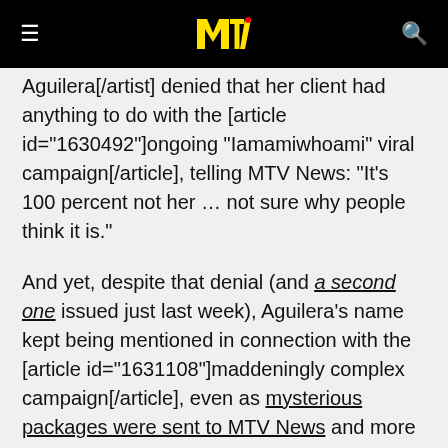MTV logo navigation bar
Aguilera [/artist] denied that her client had anything to do with the [article id="1630492"]ongoing "Iamamiwhoami" viral campaign[/article], telling MTV News: "It's 100 percent not her ... not sure why people think it is."
And yet, despite that denial (and a second one issued just last week), Aguilera's name kept being mentioned in connection with the [article id="1631108"]maddeningly complex campaign[/article], even as mysterious packages were sent to MTV News and more and more Iamami videos were released.
But on Sunday, with the debut of the seventh lamami clip, all that speculation may finally be over. We might finally know the person responsible for the engrossing